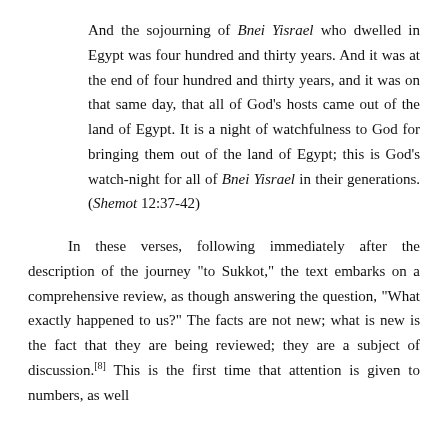And the sojourning of Bnei Yisrael who dwelled in Egypt was four hundred and thirty years. And it was at the end of four hundred and thirty years, and it was on that same day, that all of God's hosts came out of the land of Egypt. It is a night of watchfulness to God for bringing them out of the land of Egypt; this is God's watch-night for all of Bnei Yisrael in their generations. (Shemot 12:37-42)
In these verses, following immediately after the description of the journey "to Sukkot," the text embarks on a comprehensive review, as though answering the question, "What exactly happened to us?" The facts are not new; what is new is the fact that they are being reviewed; they are a subject of discussion.[8] This is the first time that attention is given to numbers, as well